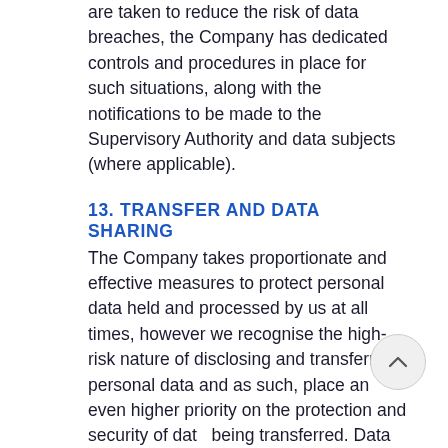are taken to reduce the risk of data breaches, the Company has dedicated controls and procedures in place for such situations, along with the notifications to be made to the Supervisory Authority and data subjects (where applicable).
13. TRANSFER AND DATA SHARING
The Company takes proportionate and effective measures to protect personal data held and processed by us at all times, however we recognise the high-risk nature of disclosing and transferring personal data and as such, place an even higher priority on the protection and security of data being transferred. Data transfers within the UK and EU are deemed